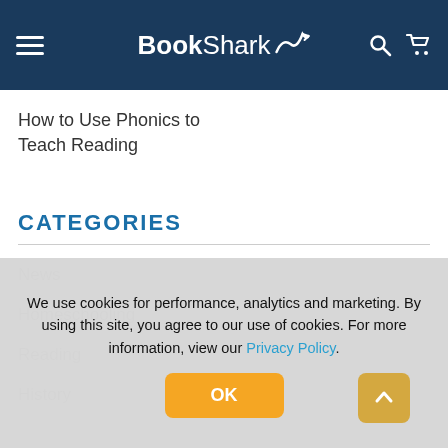BookShark
How to Use Phonics to Teach Reading
CATEGORIES
News
Homeschooling
Reading
History
We use cookies for performance, analytics and marketing. By using this site, you agree to our use of cookies. For more information, view our Privacy Policy.